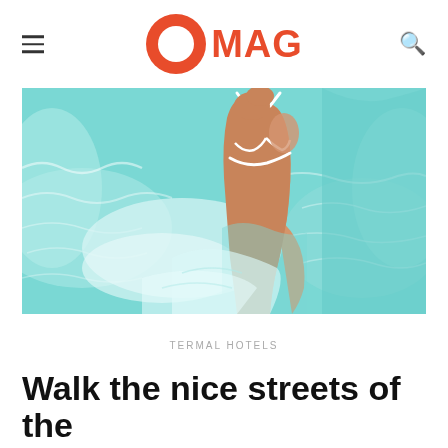O MAG
[Figure (photo): Woman in a white bikini top standing in a turquoise thermal pool, viewed from the side, water rippling around her]
TERMAL HOTELS
Walk the nice streets of the